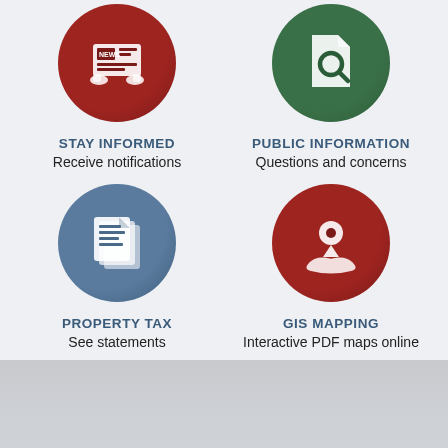[Figure (infographic): Four circular icon buttons in a 2x2 grid. Top-left: dark red circle with news/newspaper icon. Top-right: dark green circle with document search icon. Bottom-left: steel blue circle with stacked documents icon. Bottom-right: dark red circle with map pin/location icon.]
STAY INFORMED
Receive notifications
PUBLIC INFORMATION
Questions and concerns
PROPERTY TAX
See statements
GIS MAPPING
Interactive PDF maps online
[Figure (logo): Google G logo followed by 'Select Language' text with a dropdown chevron, in a white rounded pill button]
chisago